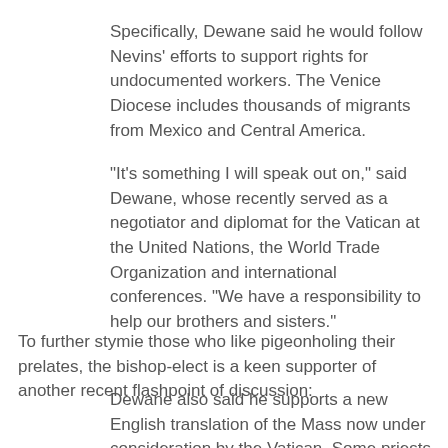Specifically, Dewane said he would follow Nevins' efforts to support rights for undocumented workers. The Venice Diocese includes thousands of migrants from Mexico and Central America.
"It's something I will speak out on," said Dewane, whose recently served as a negotiator and diplomat for the Vatican at the United Nations, the World Trade Organization and international conferences. "We have a responsibility to help our brothers and sisters."
To further stymie those who like pigeonholing their prelates, the bishop-elect is a keen supporter of another recent flashpoint of discussion:
Dewane also said he supports a new English translation of the Mass now under consideration by the Vatican. Some priests and parishioners are disappointed with the proposed changes, which are considered a more formal, literal translation of the original Latin liturgy.